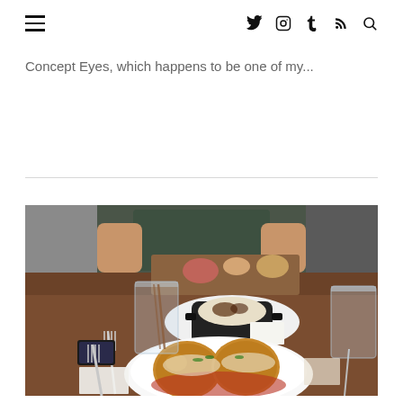Navigation header with hamburger menu and social icons: Twitter, Instagram, Tumblr, RSS, Search
Concept Eyes, which happens to be one of my...
[Figure (photo): Restaurant table scene with food: a white bowl containing arancini (fried rice balls) with sauce and parmesan, a small black cast iron pot with a dip or spread, a charcuterie/appetizer board in background, bread roll, water glasses, forks, and a person seated across the table in a dark green shirt.]